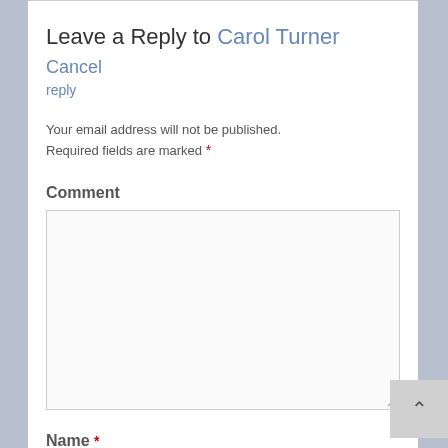Leave a Reply to Carol Turner Cancel reply
Your email address will not be published. Required fields are marked *
Comment
[Figure (screenshot): Empty comment textarea input box with resize handle]
Name *